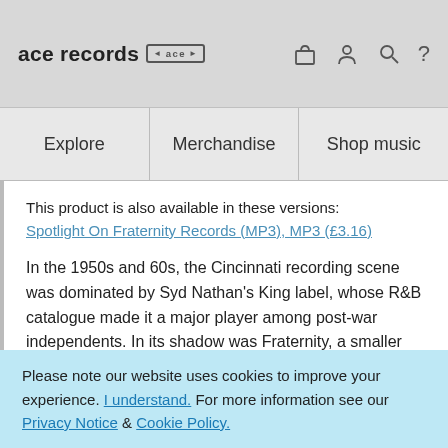ace records [logo]
Explore | Merchandise | Shop music
This product is also available in these versions:
Spotlight On Fraternity Records (MP3), MP3 (£3.16)
In the 1950s and 60s, the Cincinnati recording scene was dominated by Syd Nathan's King label, whose R&B catalogue made it a major player among post-war independents. In its shadow was Fraternity, a smaller concern launched by Harry Carlson in 1954.
The well-respected Carlson set about building an
Please note our website uses cookies to improve your experience. I understand. For more information see our Privacy Notice & Cookie Policy.